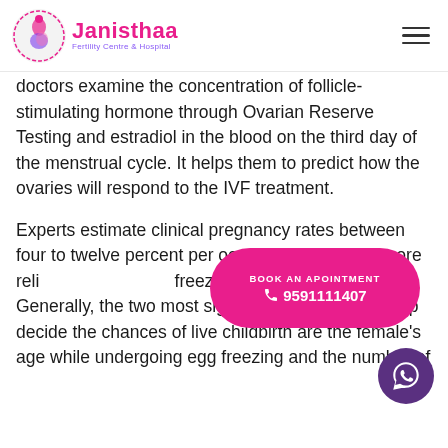Janisthaa Fertility Centre & Hospital
doctors examine the concentration of follicle-stimulating hormone through Ovarian Reserve Testing and estradiol in the blood on the third day of the menstrual cycle. It helps them to predict how the ovaries will respond to the IVF treatment.
Experts estimate clinical pregnancy rates between four to twelve percent per oocyte. But we need more reliable data on egg freezing as the process evolves. Generally, the two most significant aspects that help decide the chances of live childbirth are the female's age while undergoing egg freezing and the number of
[Figure (other): Pink pill-shaped CTA button with text 'BOOK AN APOINTMENT' and phone number '9591111407' with phone icon, overlaid on body text]
[Figure (other): Purple circular WhatsApp button with white WhatsApp logo icon]